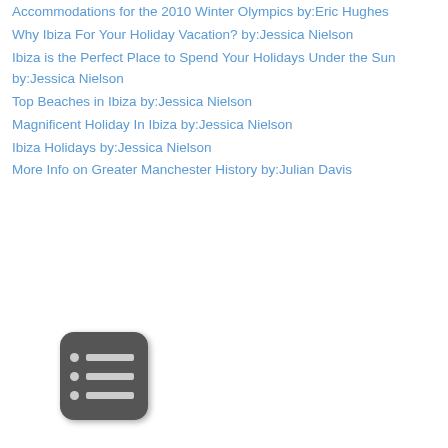Accommodations for the 2010 Winter Olympics by:Eric Hughes
Why Ibiza For Your Holiday Vacation? by:Jessica Nielson
Ibiza is the Perfect Place to Spend Your Holidays Under the Sun by:Jessica Nielson
Top Beaches in Ibiza by:Jessica Nielson
Magnificent Holiday In Ibiza by:Jessica Nielson
Ibiza Holidays by:Jessica Nielson
More Info on Greater Manchester History by:Julian Davis
[Figure (screenshot): A dark gray rounded-rectangle icon with three rows of bullet points (white dots and white lines), resembling a list/menu application icon.]